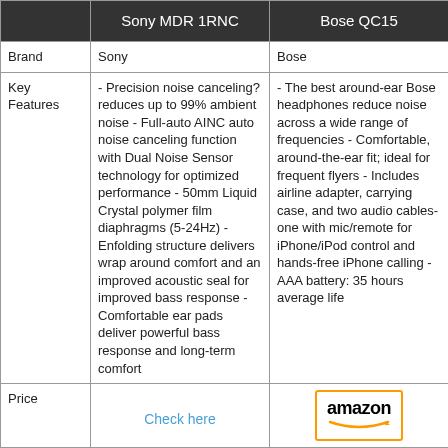|  | Sony MDR 1RNC | Bose QC15 |
| --- | --- | --- |
| Brand | Sony | Bose |
| Key Features | - Precision noise canceling?reduces up to 99% ambient noise - Full-auto AINC auto noise canceling function with Dual Noise Sensor technology for optimized performance - 50mm Liquid Crystal polymer film diaphragms (5-24Hz) - Enfolding structure delivers wrap around comfort and an improved acoustic seal for improved bass response - Comfortable ear pads deliver powerful bass response and long-term comfort | - The best around-ear Bose headphones reduce noise across a wide range of frequencies - Comfortable, around-the-ear fit; ideal for frequent flyers - Includes airline adapter, carrying case, and two audio cables- one with mic/remote for iPhone/iPod control and hands-free iPhone calling - AAA battery: 35 hours average life |
| Price | Check here | amazon |